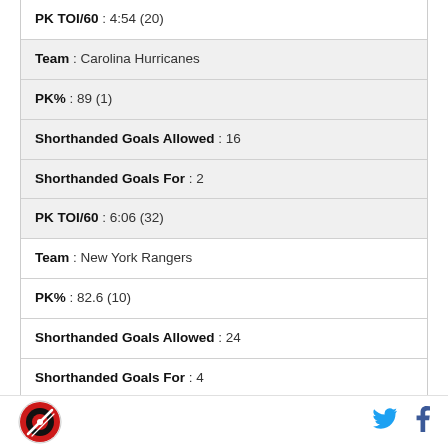| PK TOI/60 : 4:54 (20) |
| Team : Carolina Hurricanes |
| PK% : 89 (1) |
| Shorthanded Goals Allowed : 16 |
| Shorthanded Goals For : 2 |
| PK TOI/60 : 6:06 (32) |
| Team : New York Rangers |
| PK% : 82.6 (10) |
| Shorthanded Goals Allowed : 24 |
| Shorthanded Goals For : 4 |
| PK TOI/60 : 4:55 (21) |
[Figure (logo): Round sports logo with red and black design]